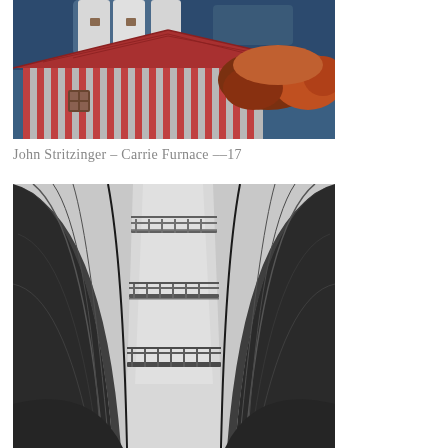[Figure (photo): Color photo of a barn with red and white vertical stripe siding, a red metal roof, cylindrical grain silos in the background against a blue sky, and orange/red autumn foliage at right]
John Stritzinger – Carrie Furnace ––17
[Figure (photo): Black and white photo looking upward between two large curved industrial metal structures (blast furnace vessels) with metal walkways/railings visible between them against a light sky]